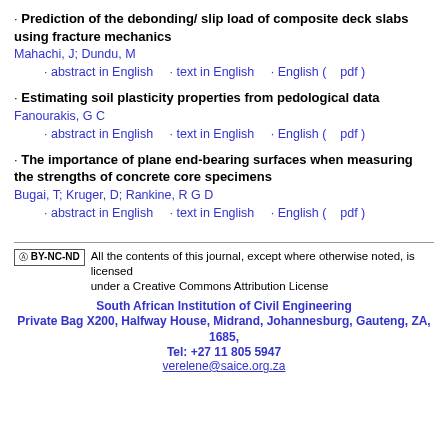Prediction of the debonding/ slip load of composite deck slabs using fracture mechanics
Mahachi, J; Dundu, M
· abstract in English · text in English · English ( pdf )
Estimating soil plasticity properties from pedological data
Fanourakis, G C
· abstract in English · text in English · English ( pdf )
The importance of plane end-bearing surfaces when measuring the strengths of concrete core specimens
Bugai, T; Kruger, D; Rankine, R G D
· abstract in English · text in English · English ( pdf )
All the contents of this journal, except where otherwise noted, is licensed under a Creative Commons Attribution License
South African Institution of Civil Engineering
Private Bag X200, Halfway House, Midrand, Johannesburg, Gauteng, ZA, 1685,
Tel: +27 11 805 5947
verelene@saice.org.za